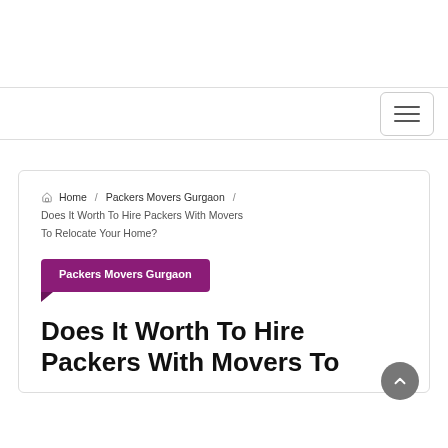Home / Packers Movers Gurgaon / Does It Worth To Hire Packers With Movers To Relocate Your Home?
Packers Movers Gurgaon
Does It Worth To Hire Packers With Movers To